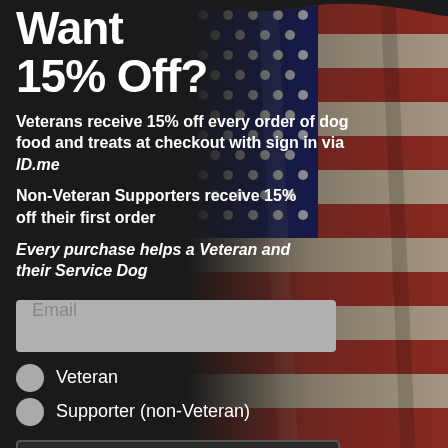Want 15% Off?
Veterans receive 15% off every order of dog food and treats at checkout with sign in via ID.me
Non-Veteran Supporters receive 15% off their first order
Every purchase helps a Veteran and their Service Dog
[Figure (photo): American flag draped on dark background, showing red, white and blue stripes and stars]
Email (input field placeholder)
Veteran (radio button)
Supporter (non-Veteran) (radio button)
Subscribe (button)